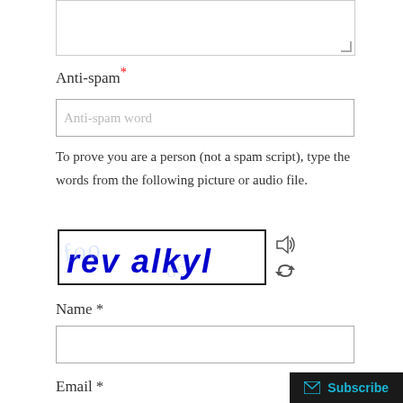Anti-spam*
[Figure (screenshot): Anti-spam word input field with placeholder text 'Anti-spam word']
To prove you are a person (not a spam script), type the words from the following picture or audio file.
[Figure (screenshot): CAPTCHA image showing handwritten blue text 'rev alkyl' with audio and refresh icons]
Name *
[Figure (screenshot): Name text input field, empty]
Email *